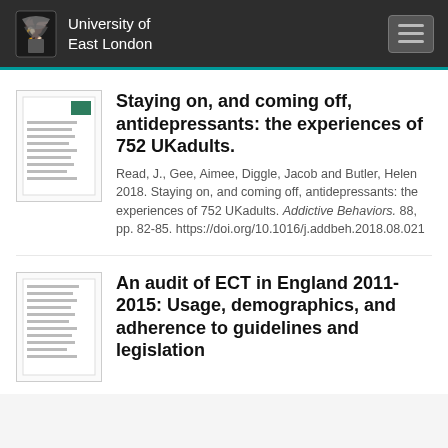University of East London
Staying on, and coming off, antidepressants: the experiences of 752 UKadults.
Read, J., Gee, Aimee, Diggle, Jacob and Butler, Helen 2018. Staying on, and coming off, antidepressants: the experiences of 752 UKadults. Addictive Behaviors. 88, pp. 82-85. https://doi.org/10.1016/j.addbeh.2018.08.021
An audit of ECT in England 2011-2015: Usage, demographics, and adherence to guidelines and legislation